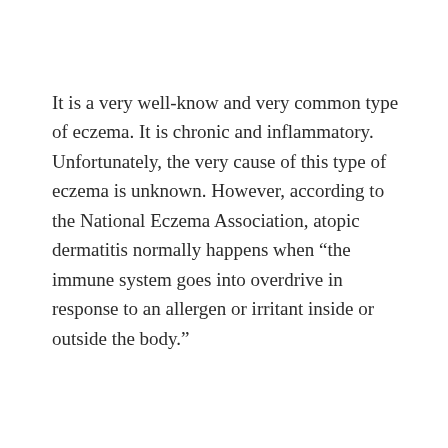It is a very well-know and very common type of eczema. It is chronic and inflammatory. Unfortunately, the very cause of this type of eczema is unknown. However, according to the National Eczema Association, atopic dermatitis normally happens when “the immune system goes into overdrive in response to an allergen or irritant inside or outside the body.”